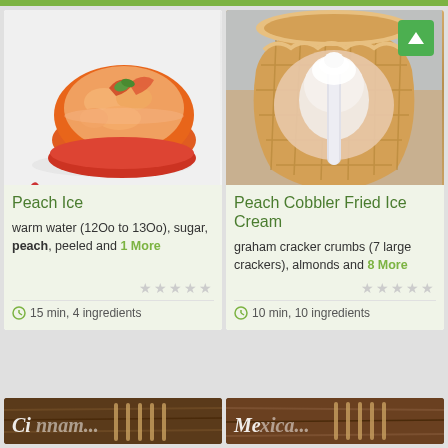[Figure (photo): Peach ice in orange bowl with spoon on white background]
Peach Ice
warm water (12Oo to 13Oo), sugar, peach, peeled and 1 More
15 min, 4 ingredients
[Figure (photo): Peach Cobbler Fried Ice Cream - waffle cone bowl with ice cream and straw]
Peach Cobbler Fried Ice Cream
graham cracker crumbs (7 large crackers), almonds and 8 More
10 min, 10 ingredients
[Figure (photo): Partial view of bottom-left recipe card with wooden background]
[Figure (photo): Partial view of bottom-right recipe card with wooden background]